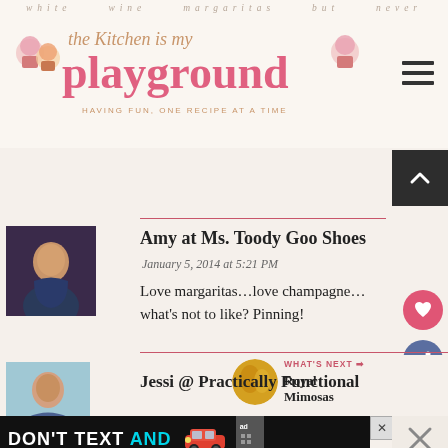white wine margaritas but never | the Kitchen is my playground | HAVING FUN, ONE RECIPE AT A TIME
[Figure (screenshot): Blog logo: 'the Kitchen is my playground' in pink serif font with cupcake decorations and tagline 'HAVING FUN, ONE RECIPE AT A TIME']
Amy at Ms. Toody Goo Shoes
January 5, 2014 at 5:21 PM
Love margaritas...love champagne...what's not to like? Pinning!
Jessi @ Practically Functional
[Figure (infographic): DON'T TEXT AND [car image] ad banner with NHTSA logo]
[Figure (infographic): WHAT'S NEXT arrow Royal Mimosas promo with gold circular image]